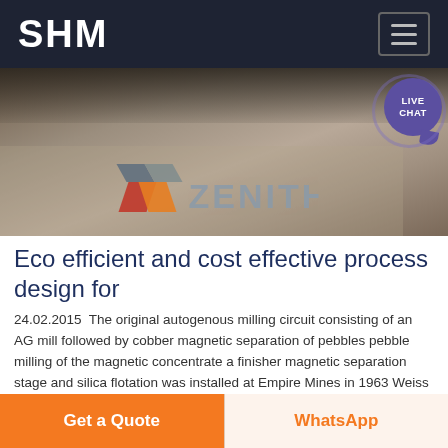SHM
[Figure (photo): Industrial mining equipment photo with Zenith brand logo overlay showing orange/grey stacked blocks and text ZENITH]
Eco efficient and cost effective process design for
24.02.2015  The original autogenous milling circuit consisting of an AG mill followed by cobber magnetic separation of pebbles pebble milling of the magnetic concentrate a finisher magnetic separation stage and silica flotation was installed at Empire Mines in 1963 Weiss 1985 There have been three expansions since and in the 1990s Empire Mines had a total of 24